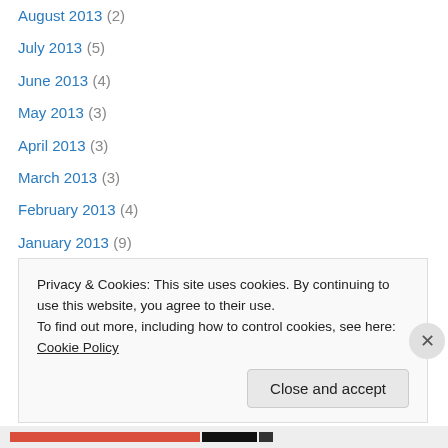August 2013 (2)
July 2013 (5)
June 2013 (4)
May 2013 (3)
April 2013 (3)
March 2013 (3)
February 2013 (4)
January 2013 (9)
December 2012 (1)
November 2012 (6)
October 2012 (5)
August 2012 (4)
July 2012 (5)
Privacy & Cookies: This site uses cookies. By continuing to use this website, you agree to their use. To find out more, including how to control cookies, see here: Cookie Policy
Close and accept